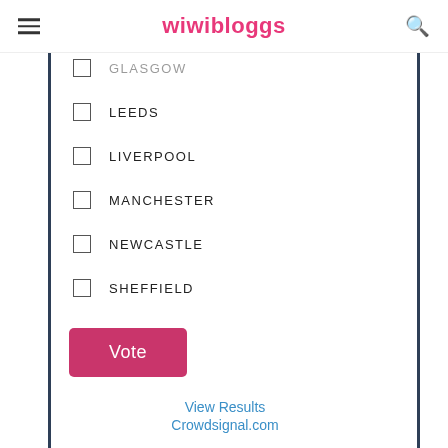wiwibloggs
GLASGOW
LEEDS
LIVERPOOL
MANCHESTER
NEWCASTLE
SHEFFIELD
Vote
View Results
Crowdsignal.com